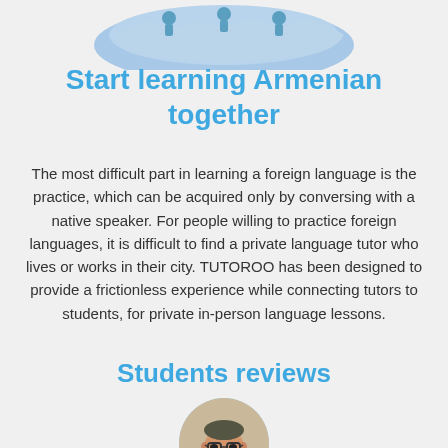[Figure (illustration): Decorative illustration showing a light blue blob shape with small figures on top, partially visible at the top of the page]
Start learning Armenian together
The most difficult part in learning a foreign language is the practice, which can be acquired only by conversing with a native speaker. For people willing to practice foreign languages, it is difficult to find a private language tutor who lives or works in their city. TUTOROO has been designed to provide a frictionless experience while connecting tutors to students, for private in-person language lessons.
Students reviews
[Figure (photo): Circular profile photo of a smiling man with glasses and a beard, wearing a dark shirt]